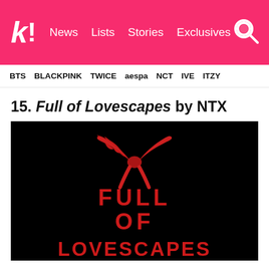k! News Lists Stories Exclusives
BTS BLACKPINK TWICE aespa NCT IVE ITZY
15. Full of Lovescapes by NTX
[Figure (photo): Black album cover for 'Full of Lovescapes' by NTX featuring a red ribbon bow at top and large red text reading FULL OF LOVESCAPES]